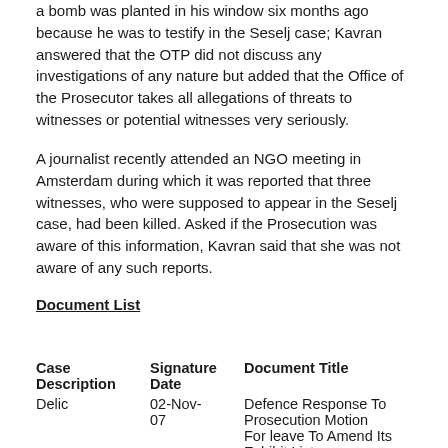a bomb was planted in his window six months ago because he was to testify in the Seselj case; Kavran answered that the OTP did not discuss any investigations of any nature but added that the Office of the Prosecutor takes all allegations of threats to witnesses or potential witnesses very seriously.
A journalist recently attended an NGO meeting in Amsterdam during which it was reported that three witnesses, who were supposed to appear in the Seselj case, had been killed. Asked if the Prosecution was aware of this information, Kavran said that she was not aware of any such reports.
Document List
| Case Description | Signature Date | Document Title |
| --- | --- | --- |
| Delic | 02-Nov-07 | Defence Response To Prosecution Motion For leave To Amend Its Exhibit List |
|  |  | Prosecution's Response To Vladimir... |